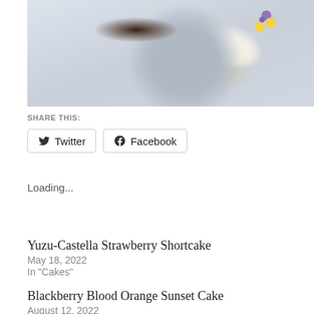[Figure (photo): A plated dessert on a grey-blue plate — white rectangular piece with edible flowers and crumble topping, dark chocolate sauce swipe, photographed from above on a light background]
SHARE THIS:
Twitter
Facebook
Loading...
Yuzu-Castella Strawberry Shortcake
May 18, 2022
In "Cakes"
Blackberry Blood Orange Sunset Cake
August 12, 2022